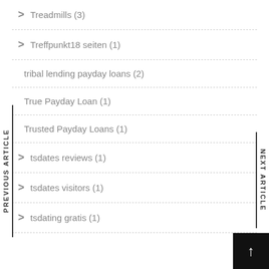Treadmills (3)
Treffpunkt18 seiten (1)
tribal lending payday loans (2)
True Payday Loan (1)
Trusted Payday Loans (1)
tsdates reviews (1)
tsdates visitors (1)
tsdating gratis (1)